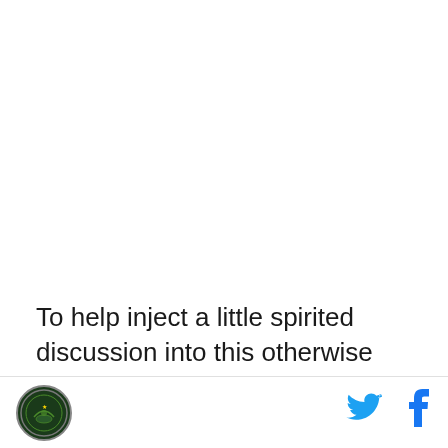To help inject a little spirited discussion into this otherwise lethargic off-season, I reached out to the ever-reliable Twitter and Facebook communities a few months ago for some fun article ideas to keep me out of trouble.
[logo] [twitter icon] [facebook icon]